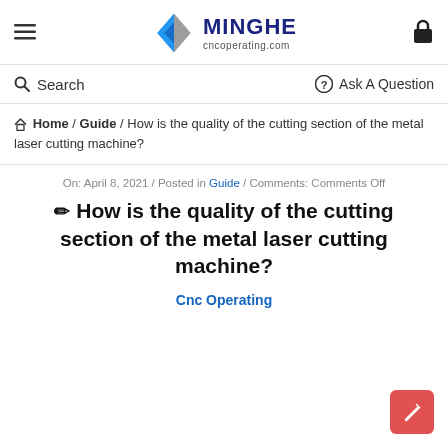MINGHE cncoperating.com
Search | Ask A Question
Home / Guide / How is the quality of the cutting section of the metal laser cutting machine?
On: April 8, 2021 / Posted in Guide / Comments: Comments Off
How is the quality of the cutting section of the metal laser cutting machine?
Cnc Operating